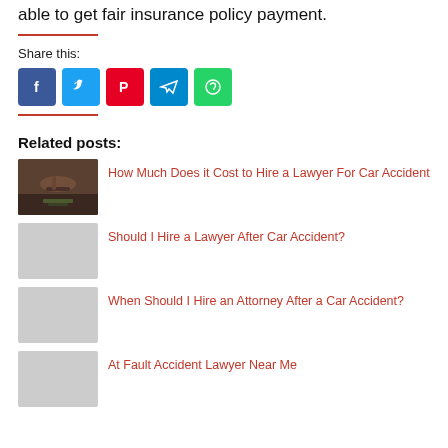able to get fair insurance policy payment.
Share this:
[Figure (infographic): Social sharing buttons: Facebook (blue), Twitter (light blue), Pinterest (red), Telegram (blue), WhatsApp (green)]
Related posts:
[Figure (photo): Gavel resting on money bills on dark wood surface]
How Much Does it Cost to Hire a Lawyer For Car Accident
Should I Hire a Lawyer After Car Accident?
When Should I Hire an Attorney After a Car Accident?
At Fault Accident Lawyer Near Me